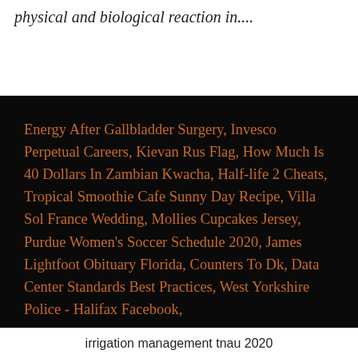physical and biological reaction in....
Energy After Gallbladder Surgery, Invesco Perpetual Careers, Kievan Rus Flag, How Much Is 40 Dollars In Zambian Kwacha, Half-life 2 Cheats, Tropical Smoothie Cafe Sunny Day Recipe, Villa Sol France Wedding, Mollies Cupcakes Jersey, Purdue Women's Soccer Schedule 2020, James Lightfoot Obituary Florida, Counters To Dk, Data Center Standards Best Practices, West Yorkshire Police - Halifax Facebook,
irrigation management tnau 2020